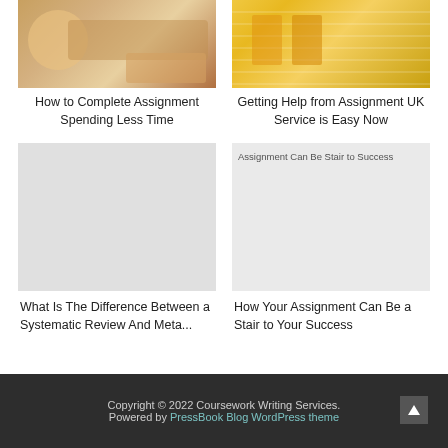[Figure (photo): Students collaborating at a table with laptops, top-left card image]
How to Complete Assignment Spending Less Time
[Figure (photo): Students writing in a lecture hall, top-right card image]
Getting Help from Assignment UK Service is Easy Now
[Figure (photo): Blank/placeholder image for systematic review card]
What Is The Difference Between a Systematic Review And Meta...
[Figure (photo): Assignment Can Be Stair to Success - partially loaded image placeholder]
How Your Assignment Can Be a Stair to Your Success
Copyright © 2022 Coursework Writing Services. Powered by PressBook Blog WordPress theme